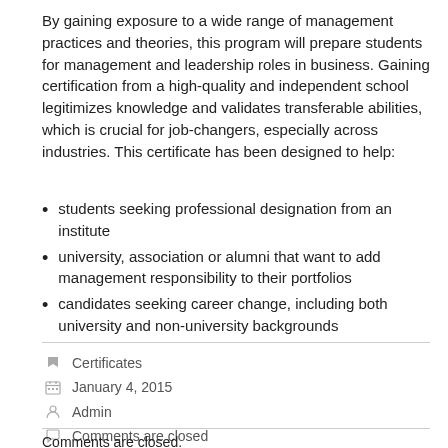By gaining exposure to a wide range of management practices and theories, this program will prepare students for management and leadership roles in business. Gaining certification from a high-quality and independent school legitimizes knowledge and validates transferable abilities, which is crucial for job-changers, especially across industries. This certificate has been designed to help:
students seeking professional designation from an institute
university, association or alumni that want to add management responsibility to their portfolios
candidates seeking career change, including both university and non-university backgrounds
Certificates
January 4, 2015
Admin
Comments are closed
Comments are closed.